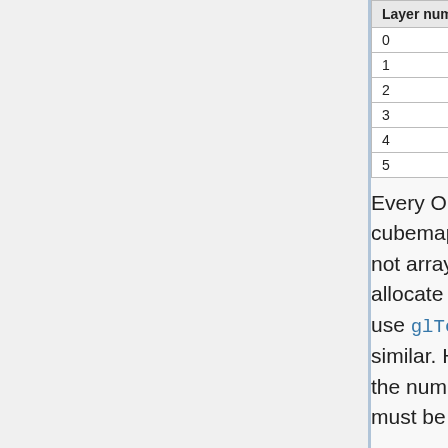| Layer number | Cubemap face |
| --- | --- |
| 0 | GL_TEXTURE_CUBE_MAP_POSITIVE_X |
| 1 | GL_TEXTURE_CUBE_MAP_NEGATIVE_X |
| 2 | GL_TEXTURE_CUBE_MAP_POSITIVE_Y |
| 3 | GL_TEXTURE_CUBE_MAP_NEGATIVE_Y |
| 4 | GL_TEXTURE_CUBE_MAP_POSITIVE_Z |
| 5 | GL_TEXTURE_CUBE_MAP_NEGATIVE_Z |
Every OpenGL API call that operates on cubemap array textures takes layer-faces, not array layers. For example, when you allocate storage for the texture, you would use glTexStorage3D or glTexImage3D or similar. However, the depth parameter will be the number of layer-faces, not layers. So it must be divisible by 6.
Similarly, when uploading texel data to the cubemap array, the parameters that represent the Z component are layer-faces. So if you want to upload to just